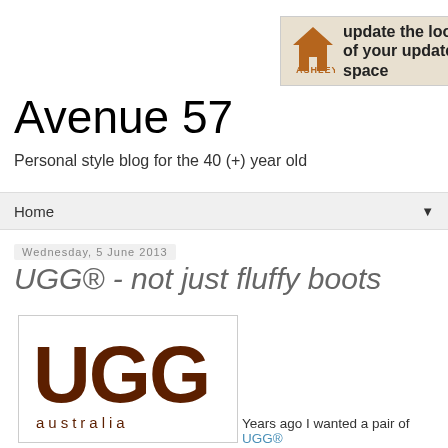[Figure (logo): Ashley Furniture advertisement banner: orange house icon, bold text 'update the look of your updated space', 'shop now' button]
Avenue 57
Personal style blog for the 40 (+) year old
Home ▼
Wednesday, 5 June 2013
UGG® - not just fluffy boots
[Figure (logo): UGG Australia logo in dark brown on white background with border]
Years ago I wanted a pair of UGG®